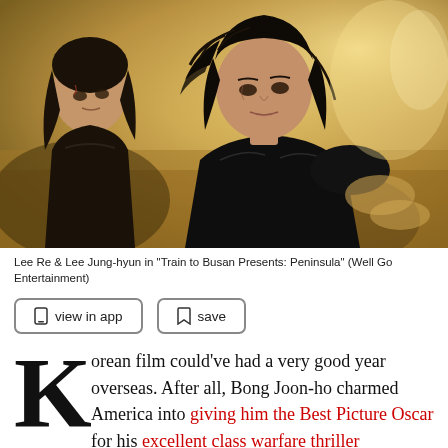[Figure (photo): Two women in dark clothing looking alarmed in a desolate outdoor scene with warm golden tones. Scene from a Korean action/thriller film.]
Lee Re & Lee Jung-hyun in "Train to Busan Presents: Peninsula" (Well Go Entertainment)
[Figure (other): Two UI buttons: 'view in app' with a phone icon and 'save' with a bookmark icon]
Korean film could've had a very good year overseas. After all, Bong Joon-ho charmed America into giving him the Best Picture Oscar for his excellent class warfare thriller